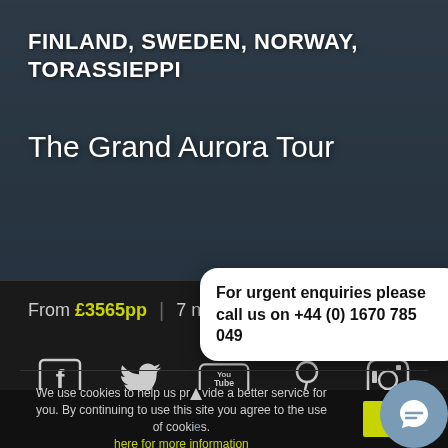FINLAND, SWEDEN, NORWAY, TORASSIEPPI
The Grand Aurora Tour
From £3565pp | 7 nights ✈ inc
[Figure (infographic): Social media icons: Facebook, Twitter, YouTube, Pinterest/Periscope, Instagram]
For urgent enquiries please call us on +44 (0) 1670 785 049
We use cookies to help us provide a better service for you. By continuing to use this site you agree to the use of cookies. here for more information  Got it!